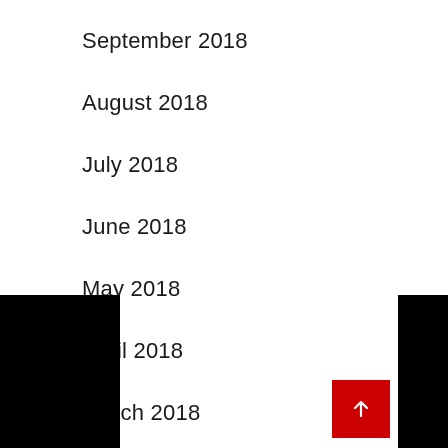September 2018
August 2018
July 2018
June 2018
May 2018
April 2018
March 2018
February 2018
PREVIOUS POST
NEXT POST
[Figure (other): Back to top arrow button (red square with upward arrow)]